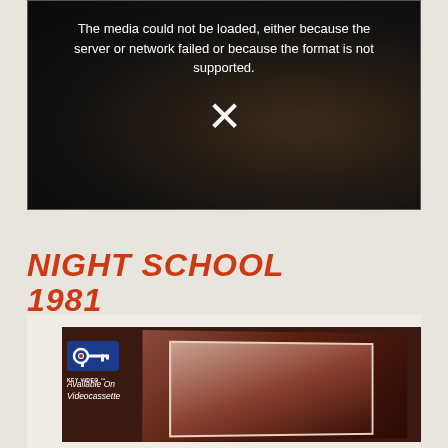[Figure (screenshot): Video player with media load error message on dark background showing silhouette of figure. White text reads: The media could not be loaded, either because the server or network failed or because the format is not supported. A white X appears below the text.]
NIGHT SCHOOL 1981
[Figure (photo): VHS video cassette cover for Night School 1981. Shows Key Video logo (key icon) in upper left with text 'KEY VIDEO' and 'Available On Videocassette'. Dark brown background with silhouette of a figure.]